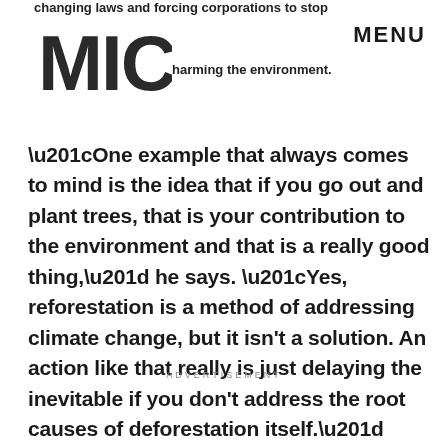changing laws and forcing corporations to stop harming the environment. MENU
“One example that always comes to mind is the idea that if you go out and plant trees, that is your contribution to the environment and that is a really good thing,” he says. “Yes, reforestation is a method of addressing climate change, but it isn’t a solution. An action like that really is just delaying the inevitable if you don’t address the root causes of deforestation itself.”
ADVERTISEMENT